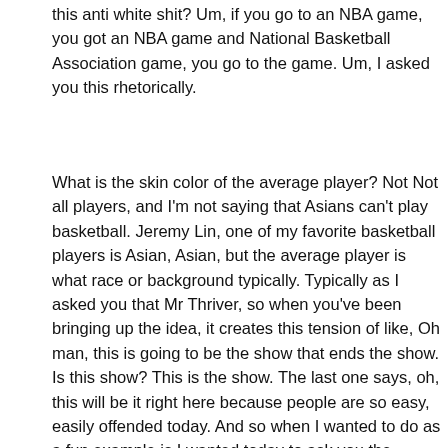this anti white shit? Um, if you go to an NBA game, you got an NBA game and National Basketball Association game, you go to the game. Um, I asked you this rhetorically.
What is the skin color of the average player? Not Not all players, and I'm not saying that Asians can't play basketball. Jeremy Lin, one of my favorite basketball players is Asian, Asian, but the average player is what race or background typically. Typically as I asked you that Mr Thriver, so when you've been bringing up the idea, it creates this tension of like, Oh man, this is going to be the show that ends the show. Is this show? This is the show. The last one says, oh, this will be it right here because people are so easy, easily offended today. And so when I wanted to do as a fun example is I wanted today to ask you the question, Mr thriver rhetorically. Mrs thriver. Why can only comedians and musicians say anything anymore? I mean, well, how come you can go to a comedy show and a comedian? Jeff, have you been to a comedy show? Yeah. Yeah. Seen Seinfeld a couple of times. Do you like comedy? I love comedy shows. Why can comedians say